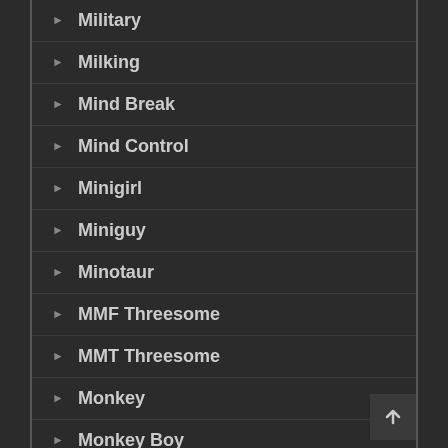Military
Milking
Mind Break
Mind Control
Minigirl
Miniguy
Minotaur
MMF Threesome
MMT Threesome
Monkey
Monkey Boy
Monoeye
Monster